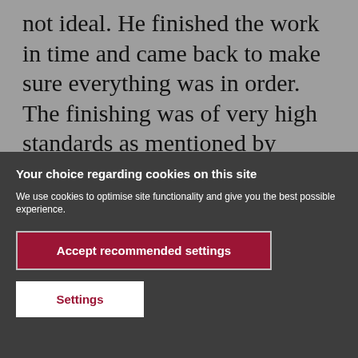not ideal. He finished the work in time and came back to make sure everything was in order. The finishing was of very high standards as mentioned by people (including estate agents) visiting our house
Your choice regarding cookies on this site
We use cookies to optimise site functionality and give you the best possible experience.
Accept recommended settings
Settings